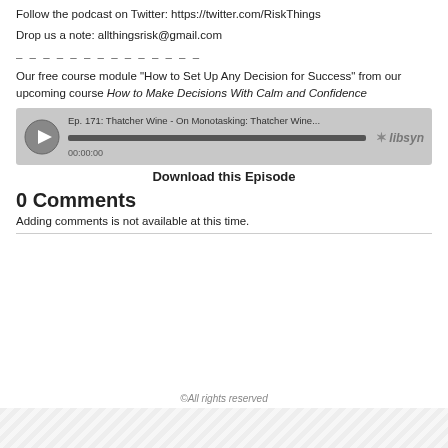Follow the podcast on Twitter: https://twitter.com/RiskThings
Drop us a note: allthingsrisk@gmail.com
– – – – – – – – – – – – – –
Our free course module “How to Set Up Any Decision for Success” from our upcoming course How to Make Decisions With Calm and Confidence
[Figure (other): Audio player widget showing: Ep. 171: Thatcher Wine - On Monotasking: Thatcher Wine... with progress bar showing 00:00:00 and Libsyn branding]
Download this Episode
0 Comments
Adding comments is not available at this time.
©All rights reserved